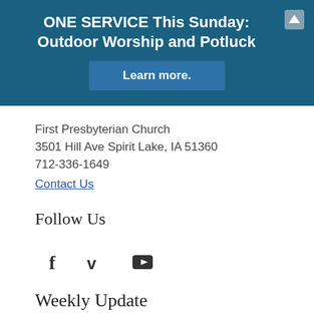ONE SERVICE This Sunday: Outdoor Worship and Potluck
Learn more.
First Presbyterian Church
3501 Hill Ave Spirit Lake, IA 51360
712-336-1649
Contact Us
Follow Us
[Figure (infographic): Social media icons: Facebook (f), Vimeo (V), YouTube (play button square)]
Weekly Update